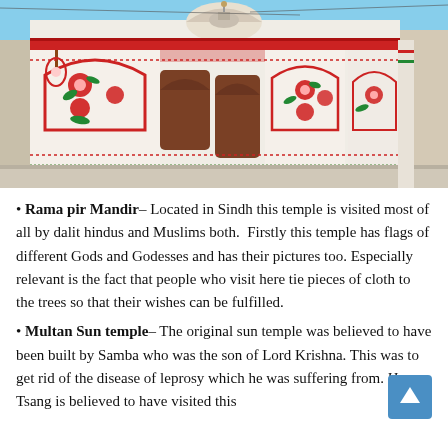[Figure (photo): Photograph of Rama pir Mandir temple in Sindh, showing an ornately decorated white building with red and green floral and geometric patterns on the facade, arched doorways, and a dome visible at the top. The exterior walls are densely painted with traditional designs.]
Rama pir Mandir– Located in Sindh this temple is visited most of all by dalit hindus and Muslims both.  Firstly this temple has flags of different Gods and Godesses and has their pictures too. Especially relevant is the fact that people who visit here tie pieces of cloth to the trees so that their wishes can be fulfilled.
Multan Sun temple– The original sun temple was believed to have been built by Samba who was the son of Lord Krishna. This was to get rid of the disease of leprosy which he was suffering from. Hsuen Tsang is believed to have visited this